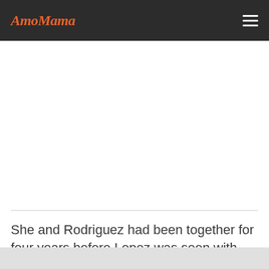AmoMama
[Figure (other): White advertisement/content area placeholder]
She and Rodriguez had been together for four years before Lopez was seen with Affleck soon after her split